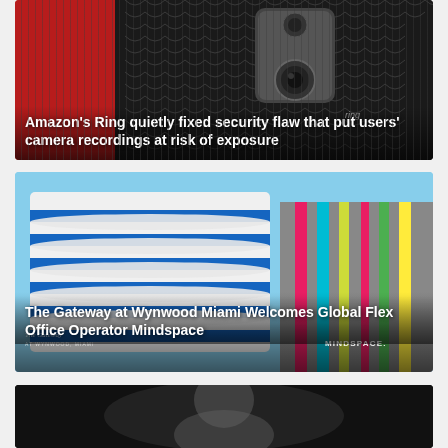[Figure (photo): Close-up photo of an Amazon Ring doorbell camera on a red and dark wavy-textured background, with white bold headline text overlaid]
Amazon's Ring quietly fixed security flaw that put users' camera recordings at risk of exposure
[Figure (photo): Photo of The Gateway at Wynwood Miami building exterior, white and blue striped curved architecture on left, colorful vertical striped facade on right, with Gateway and Mindspace logos and white bold headline text overlaid]
The Gateway at Wynwood Miami Welcomes Global Flex Office Operator Mindspace
[Figure (photo): Partially visible dark photo at bottom of page, cropped]